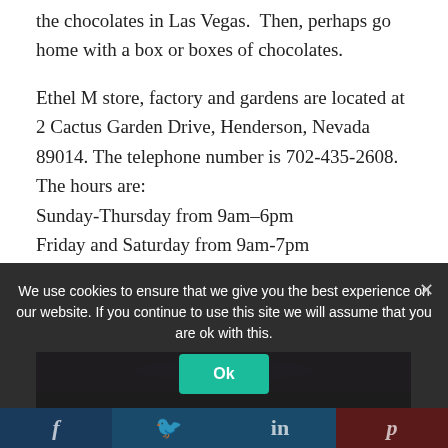the chocolate factory able to see how they make the best chocolates in Las Vegas.  Then, perhaps go home with a box or boxes of chocolates.
Ethel M store, factory and gardens are located at 2 Cactus Garden Drive, Henderson, Nevada 89014.  The telephone number is 702-435-2608.  The hours are:
Sunday-Thursday from 9am–6pm
Friday and Saturday from 9am-7pm
[Figure (photo): Night-time photo of illuminated outdoor scene, dark blue and purple tones with orange lights]
We use cookies to ensure that we give you the best experience on our website. If you continue to use this site we will assume that you are ok with this.